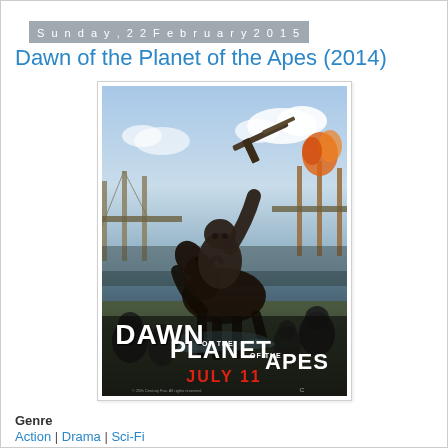Sunday, 22 February 2015
Dawn of the Planet of the Apes (2014)
[Figure (photo): Movie poster for Dawn of the Planet of the Apes (2014). Shows a chimpanzee riding a horse, raising a rifle overhead, with the Golden Gate Bridge in the background. Text reads: DAWN OF THE PLANET OF THE APES JULY 11]
Genre
Action | Drama | Sci-Fi